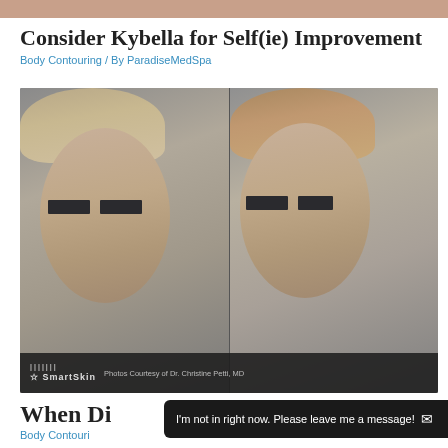Consider Kybella for Self(ie) Improvement
Body Contouring / By ParadiseMedSpa
[Figure (photo): Before and after comparison photos of a woman's face showing results of Kybella treatment. Both photos show a middle-aged woman with short gray-brown hair facing forward. Eyes are obscured with black privacy bars. Left photo is before treatment, right photo is after. SmartSkin logo and 'Photos Courtesy of Dr. Christine Petti, MD' text appear at bottom of image.]
When Di...
Body Contouri...
I'm not in right now. Please leave me a message!